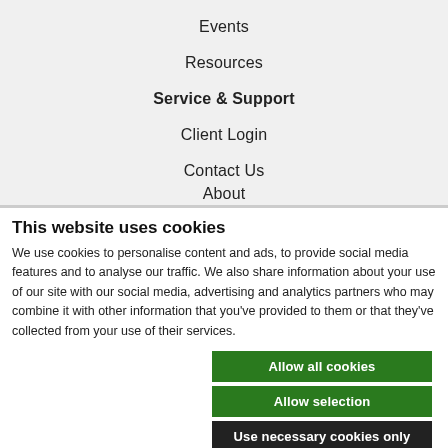Events
Resources
Service & Support
Client Login
Contact Us
About
This website uses cookies
We use cookies to personalise content and ads, to provide social media features and to analyse our traffic. We also share information about your use of our site with our social media, advertising and analytics partners who may combine it with other information that you've provided to them or that they've collected from your use of their services.
Allow all cookies
Allow selection
Use necessary cookies only
Necessary  Preferences  Statistics  Marketing  Show details